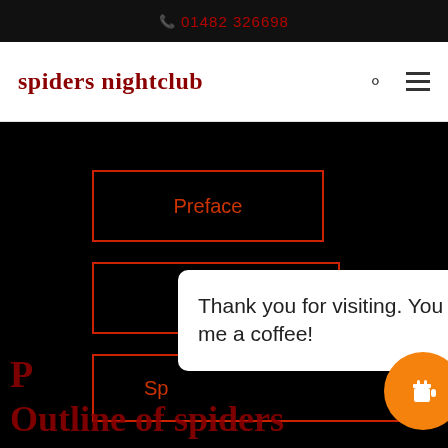📞 01482 326698
spiders nightclub
Preface
Fairytale
Sp...
Thank you for visiting. You can now buy me a coffee!